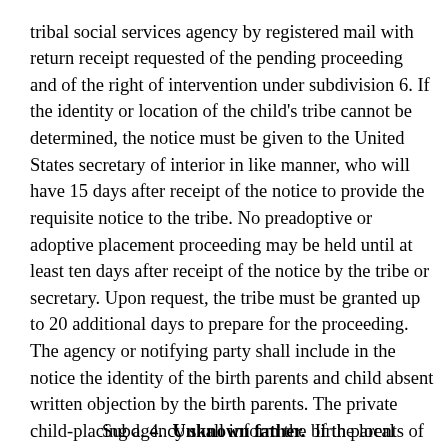tribal social services agency by registered mail with return receipt requested of the pending proceeding and of the right of intervention under subdivision 6. If the identity or location of the child's tribe cannot be determined, the notice must be given to the United States secretary of interior in like manner, who will have 15 days after receipt of the notice to provide the requisite notice to the tribe. No preadoptive or adoptive placement proceeding may be held until at least ten days after receipt of the notice by the tribe or secretary. Upon request, the tribe must be granted up to 20 additional days to prepare for the proceeding. The agency or notifying party shall include in the notice the identity of the birth parents and child absent written objection by the birth parents. The private child-placing agency shall inform the birth parents of the Indian child of any services available to the Indian child through the child's tribal social services agency, including child placement services, and shall additionally provide the birth parents of the Indian child with all information sent from the tribal social services agency in response to the notice.
Subd. 4. Unknown father. If the local social services